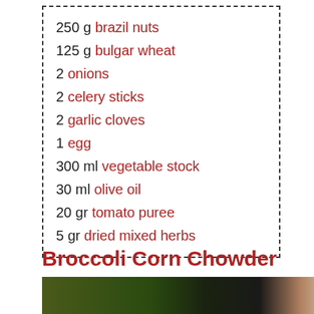250 g brazil nuts
125 g bulgar wheat
2 onions
2 celery sticks
2 garlic cloves
1 egg
300 ml vegetable stock
30 ml olive oil
20 gr tomato puree
5 gr dried mixed herbs
Broccoli Corn Chowder
[Figure (photo): Person holding food with green plant/broccoli in background]